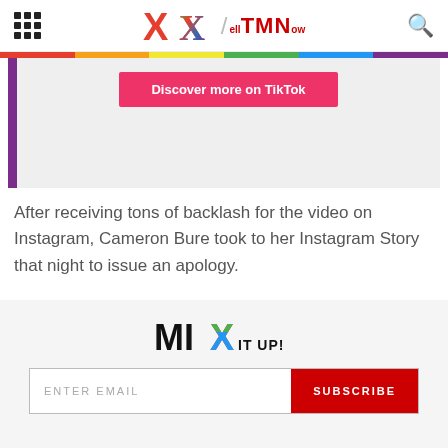X / TMN - TellMeNow
[Figure (screenshot): TikTok embed area with purple sidebar and pink 'Discover more on TikTok' button on grey background]
After receiving tons of backlash for the video on Instagram, Cameron Bure took to her Instagram Story that night to issue an apology.
[Figure (logo): MIX IT UP! newsletter logo with stylized X in red, blue, green colors]
ENTER EMAIL | SUBSCRIBE